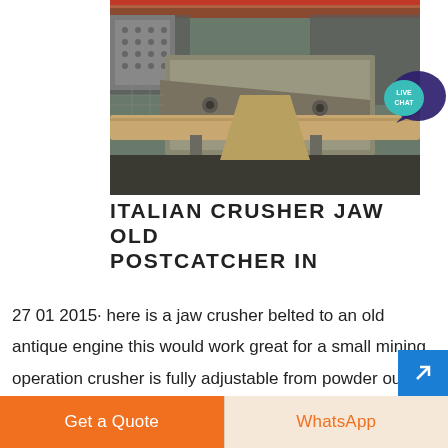[Figure (photo): Industrial jaw crusher machinery on a conveyor system in a mining/processing facility. Heavy steel equipment with conveyor belts and structural supports visible.]
ITALIAN CRUSHER JAW OLD POSTCATCHER IN
27 01 2015· here is a jaw crusher belted to an old antique engine this would work great for a small mining operation crusher is fully adjustable from powder out to 6 in italian crusher but I thought someone might be interested in a 1 year old manual crusher destemmer Italian Crusher old stone crusher
Get a Quote
WhatsApp